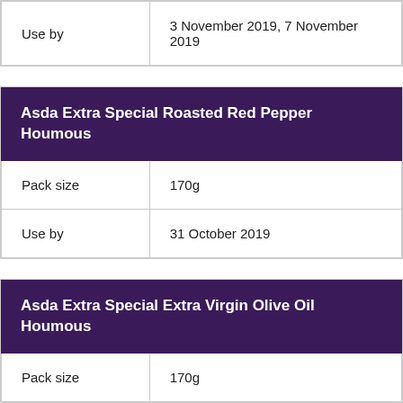| Use by | 3 November 2019, 7 November 2019 |
| Asda Extra Special Roasted Red Pepper Houmous |
| --- |
| Pack size | 170g |
| Use by | 31 October 2019 |
| Asda Extra Special Extra Virgin Olive Oil Houmous |
| --- |
| Pack size | 170g |